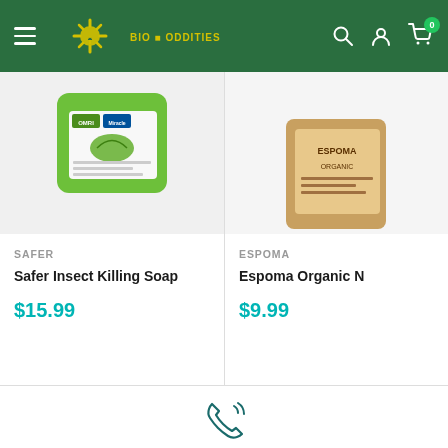Navigation bar with menu, logo, search, account, and cart (0 items)
[Figure (photo): Product image of Safer Insect Killing Soap in green container]
SAFER
Safer Insect Killing Soap
$15.99
[Figure (photo): Partial product image of Espoma Organic product]
ESPOMA
Espoma Organic N
$9.99
[Figure (illustration): Phone/call icon with signal waves]
Commercial Pricing Available
We have been the supplier of choice for numerous commercial hydroponic and agricultural operations for decades. For more